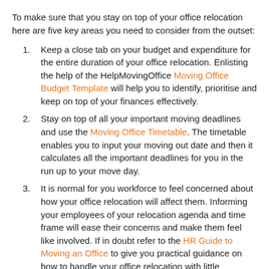To make sure that you stay on top of your office relocation here are five key areas you need to consider from the outset:
Keep a close tab on your budget and expenditure for the entire duration of your office relocation. Enlisting the help of the HelpMovingOffice Moving Office Budget Template will help you to identify, prioritise and keep on top of your finances effectively.
Stay on top of all your important moving deadlines and use the Moving Office Timetable. The timetable enables you to input your moving out date and then it calculates all the important deadlines for you in the run up to your move day.
It is normal for you workforce to feel concerned about how your office relocation will affect them. Informing your employees of your relocation agenda and time frame will ease their concerns and make them feel like involved. If in doubt refer to the HR Guide to Moving an Office to give you practical guidance on how to handle your office relocation with little disruption to your staff.